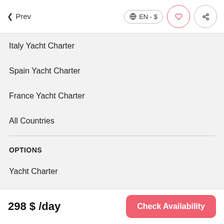< Prev  EN - $
Italy Yacht Charter
Spain Yacht Charter
France Yacht Charter
All Countries
OPTIONS
Yacht Charter
Gulet Charter
Motor yacht Charter
Sailboat Charter
298 $ /day   Check Availability